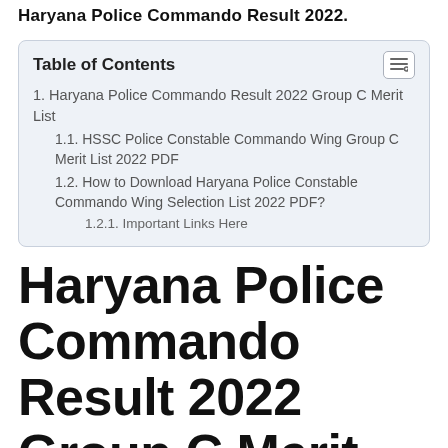Haryana Police Commando Result 2022.
| 1. Haryana Police Commando Result 2022 Group C Merit List |
| 1.1. HSSC Police Constable Commando Wing Group C Merit List 2022 PDF |
| 1.2. How to Download Haryana Police Constable Commando Wing Selection List 2022 PDF? |
| 1.2.1. Important Links Here |
Haryana Police Commando Result 2022 Group C Merit List